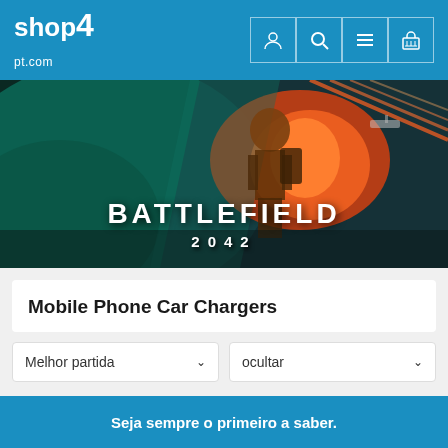shop4pt.com
[Figure (screenshot): Battlefield 2042 promotional banner with soldier and action background]
Mobile Phone Car Chargers
Melhor partida
ocultar
Nenhum resultado encontrado.
Seja sempre o primeiro a saber.